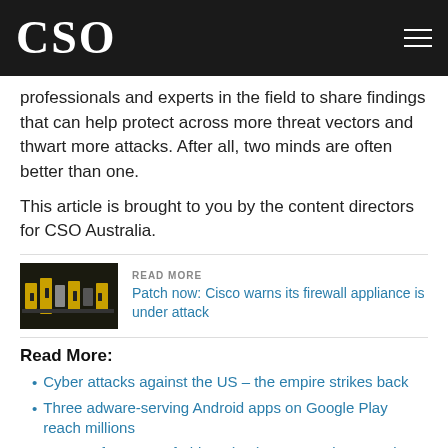CSO
professionals and experts in the field to share findings that can help protect across more threat vectors and thwart more attacks. After all, two minds are often better than one.
This article is brought to you by the content directors for CSO Australia.
[Figure (photo): Image of electronic/hardware components (likely firewall appliance or network equipment) in dark background with yellow accents]
READ MORE
Patch now: Cisco warns its firewall appliance is under attack
Read More:
Cyber attacks against the US – the empire strikes back
Three adware-serving Android apps on Google Play reach millions
Impact of Internet of Things (IoT) on IT, Business and